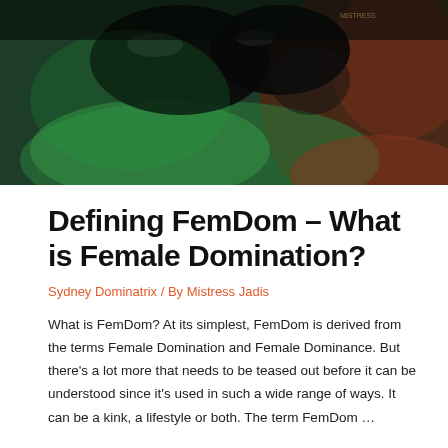[Figure (photo): Dark artistic photograph with green and reddish-brown tones, showing shiny black latex/leather elements against fur and floral background with dramatic lighting]
Defining FemDom – What is Female Domination?
Sydney Dominatrix / By Mistress Jadis
What is FemDom? At its simplest, FemDom is derived from the terms Female Domination and Female Dominance. But there's a lot more that needs to be teased out before it can be understood since it's used in such a wide range of ways. It can be a kink, a lifestyle or both. The term FemDom …